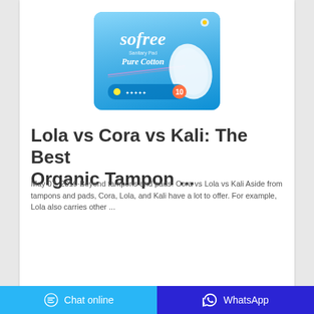[Figure (photo): Sofree Sanitary Pad Pure Cotton product packaging in blue, showing a pack of 10 pads]
Lola vs Cora vs Kali: The Best Organic Tampon ...
May 07, 2019·Beyond tampons and pads: Cora vs Lola vs Kali Aside from tampons and pads, Cora, Lola, and Kali have a lot to offer. For example, Lola also carries other ...
Chat online | WhatsApp